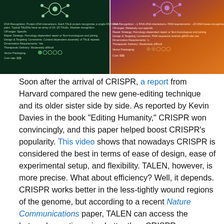[Figure (photo): Side-by-side comparison infographic of TALEN and CRISPR gene-editing tools. Left panel shows TALEN on dark green background with a molecular diagram and text listing DNA Recognition, Off-target, Repair Strategy, Design & Targeting Constraints, Dimerization Requirements, Therapeutic Delivery, Vector Packaging, and Cost. Right panel shows CRISPR on an orange/purple background with similar categories listed.]
Soon after the arrival of CRISPR, a report from Harvard compared the new gene-editing technique and its older sister side by side. As reported by Kevin Davies in the book “Editing Humanity,” CRISPR won convincingly, and this paper helped boost CRISPR’s popularity. This video shows that nowadays CRISPR is considered the best in terms of ease of design, ease of experimental setup, and flexibility. TALEN, however, is more precise. What about efficiency? Well, it depends. CRISPR works better in the less-tightly wound regions of the genome, but according to a recent Nature Communications paper, TALEN can access the heterochromatin region better than CRISPR.